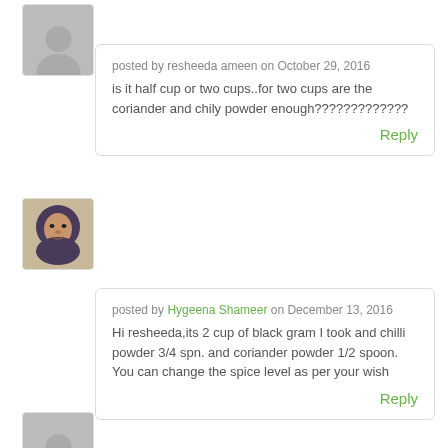[Figure (photo): Gray silhouette avatar placeholder at top left]
posted by resheeda ameen on October 29, 2016
is it half cup or two cups..for two cups are the coriander and chily powder enough?????????????
Reply
[Figure (photo): Profile photo of Hygeena Shameer - woman wearing hijab]
posted by Hygeena Shameer on December 13, 2016
Hi resheeda,its 2 cup of black gram I took and chilli powder 3/4 spn. and coriander powder 1/2 spoon. You can change the spice level as per your wish
Reply
[Figure (photo): Gray silhouette avatar placeholder at bottom left]